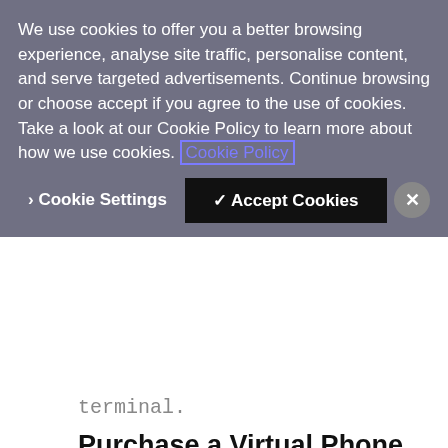We use cookies to offer you a better browsing experience, analyse site traffic, personalise content, and serve targeted advertisements. Continue browsing or choose accept if you agree to the use of cookies. Take a look at our Cookie Policy to learn more about how we use cookies. Cookie Policy
> Cookie Settings   ✓ Accept Cookies   ✕
terminal.
Purchase a Virtual Phone Number
The first step will be to purchase a number (feel free to use a different ISO 3166 alpha-2 country code as needed).
[Figure (screenshot): Dark code block showing: vonage numbers:search US]